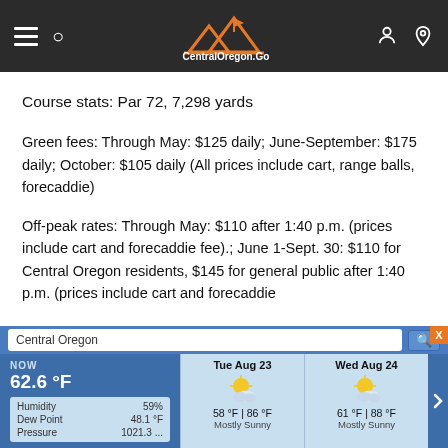[Figure (screenshot): CentralOregon.Golf website navigation bar with hamburger menu, search icon, mountain logo, and user/location icons on dark background]
Course stats: Par 72, 7,298 yards
Green fees: Through May: $125 daily; June-September: $175 daily; October: $105 daily (All prices include cart, range balls, forecaddie)
Off-peak rates: Through May: $110 after 1:40 p.m. (prices include cart and forecaddie fee).; June 1-Sept. 30: $110 for Central Oregon residents, $145 for general public after 1:40 p.m. (prices include cart and forecaddie
[Figure (screenshot): Weather widget overlay showing Central Oregon weather: NOW 62.6°F, Humidity 59%, Dew Point 48.1°F, Pressure 1021.3, Tue Aug 23: 58°F / 86°F Mostly Sunny, Wed Aug 24: 61°F / 88°F Mostly Sunny]